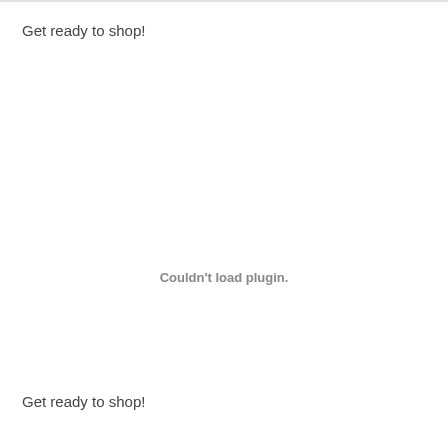Get ready to shop!
Couldn't load plugin.
Get ready to shop!